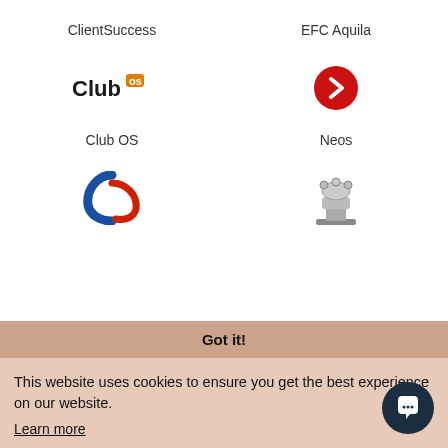ClientSuccess
EFC Aquila
[Figure (logo): Club OS logo with orange superscript]
[Figure (logo): Red circle with white right-arrow chevron]
Club OS
Neos
[Figure (logo): Blue and red swoosh logo]
[Figure (logo): Chess piece (rook/king) icon]
Got it!
This website uses cookies to ensure you get the best experience on our website.
Learn more